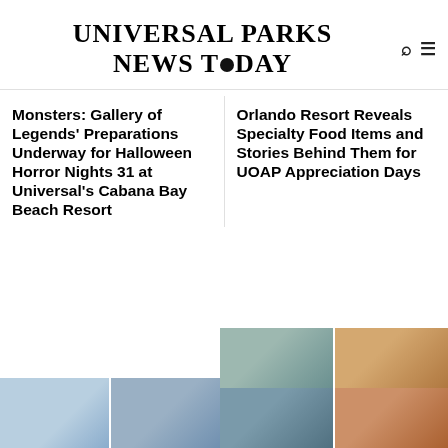Universal Parks News Today
Monsters: Gallery of Legends' Preparations Underway for Halloween Horror Nights 31 at Universal's Cabana Bay Beach Resort
Orlando Resort Reveals Specialty Food Items and Stories Behind Them for UOAP Appreciation Days
[Figure (photo): Two partial thumbnail images of Universal Parks attractions/hotel, light blue/gray tones]
[Figure (photo): Two images side by side: outdoor theme park area and performers in colorful costumes]